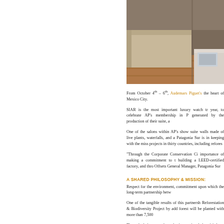[Figure (photo): Interior photo of a room showing wooden floor, upholstered furniture/sofa in beige/tan color, and a white desk or table corner with what appears to be printed materials on it.]
From October 4th – 6th, Audemars Piguet's the heart of Mexico City.
SIAR is the most important luxury watch tr year, to celebrate AP's membership in P generated by the production of their suite, a
One of the salons within AP's show suite walls made of live plants, waterfalls, and a Patagonia Sur is in keeping with the miss projects in thirty countries, including refores
“Through the Corporate Conservation Ci importance of making a commitment to t building a LEED-certified factory, and thro Offsets General Manager, Patagonia Sur
A SHARED PHILOSOPHY & MISSION:
Respect for the environment, commitment upon which the long-term partnership betw
One of the tangible results of this partnersh Reforestation & Biodiversity Project by add forest will be planted with more than 7,500
Through their outreach to the international the visit by a few of artists to the P